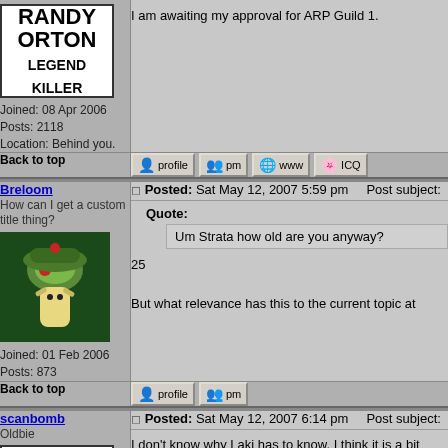Joined: 08 Apr 2006
Posts: 2118
Location: Behind you.
I am awaiting my approval for ARP Guild 1.
Back to top
Breloom
How can I get a custom title thing?
Joined: 01 Feb 2006
Posts: 873
Posted: Sat May 12, 2007 5:59 pm    Post subject:
Quote:
Um Strata how old are you anyway?
25
But what relevance has this to the current topic at
Back to top
scanbomb
Oldbie
Joined: 08 Apr 2006
Posts: 2118
Location: Behind you.
Posted: Sat May 12, 2007 6:14 pm    Post subject:
I don't know why Laki has to know. I think it is a bit
I am awaiting my approval for ARP Guild 1.